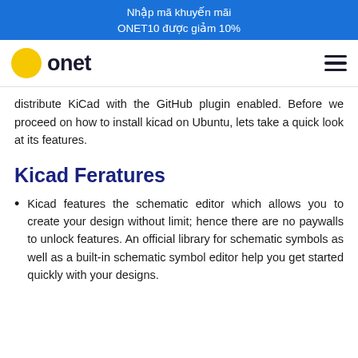Nhập mã khuyến mãi ONET10 được giảm 10%
[Figure (logo): Onet logo with yellow circle and bold text 'onet', plus hamburger menu icon on right]
distribute KiCad with the GitHub plugin enabled. Before we proceed on how to install kicad on Ubuntu, lets take a quick look at its features.
Kicad Feratures
Kicad features the schematic editor which allows you to create your design without limit; hence there are no paywalls to unlock features. An official library for schematic symbols as well as a built-in schematic symbol editor help you get started quickly with your designs.